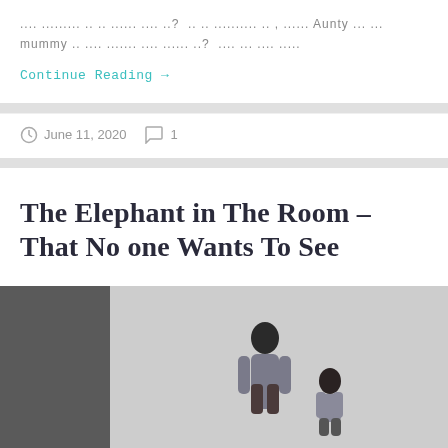.... ......... .. .. ...... .... ..? .. .. .......... .. , ...... Aunty ... ... mummy .. .... ....... .... ...... ..? .... ... .... .....
Continue Reading →
June 11, 2020   1
The Elephant in The Room – That No one Wants To See
[Figure (photo): Two people in conversation, one standing, one seated, in a light grey interior setting]